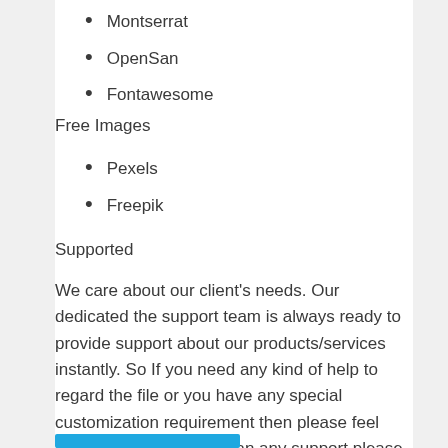Montserrat
OpenSan
Fontawesome
Free Images
Pexels
Freepik
Supported
We care about our client's needs. Our dedicated the support team is always ready to provide support about our products/services instantly. So If you need any kind of help to regard the file or you have any special customization requirement then please feel free to contact us. you can any support please email:themomarkets@gmail.com